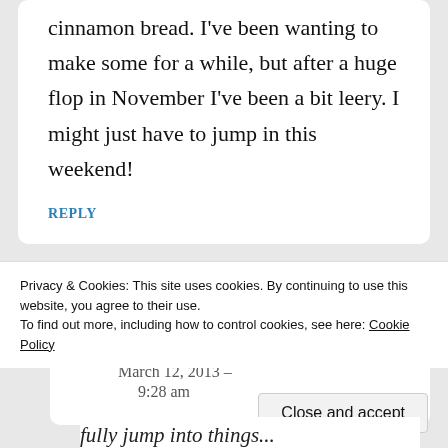cinnamon bread. I've been wanting to make some for a while, but after a huge flop in November I've been a bit leery. I might just have to jump in this weekend!
REPLY
domestic diva, MD  March 12, 2013 – 9:28 am
Privacy & Cookies: This site uses cookies. By continuing to use this website, you agree to their use.
To find out more, including how to control cookies, see here: Cookie Policy
Close and accept
fully jump into things...